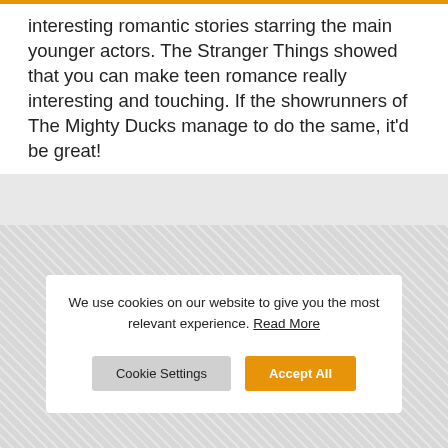interesting romantic stories starring the main younger actors. The Stranger Things showed that you can make teen romance really interesting and touching. If the showrunners of The Mighty Ducks manage to do the same, it'd be great!
We use cookies on our website to give you the most relevant experience. Read More
Cookie Settings | Accept All